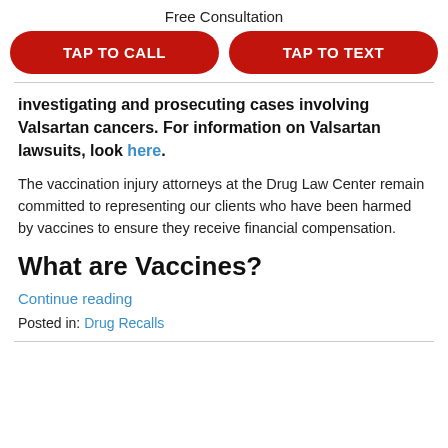Free Consultation
[Figure (other): Two red rounded buttons: TAP TO CALL and TAP TO TEXT]
investigating and prosecuting cases involving Valsartan cancers. For information on Valsartan lawsuits, look here.
The vaccination injury attorneys at the Drug Law Center remain committed to representing our clients who have been harmed by vaccines to ensure they receive financial compensation.
What are Vaccines?
Continue reading
Posted in: Drug Recalls